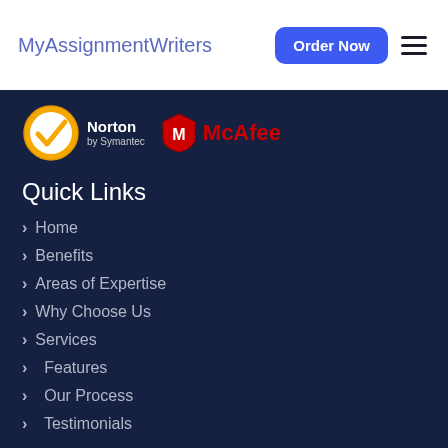MyAssignmentWriters
[Figure (logo): Norton by Symantec and McAfee security logos]
Quick Links
Home
Benefits
Areas of Expertise
Why Choose Us
Services
Features
Our Process
Testimonials